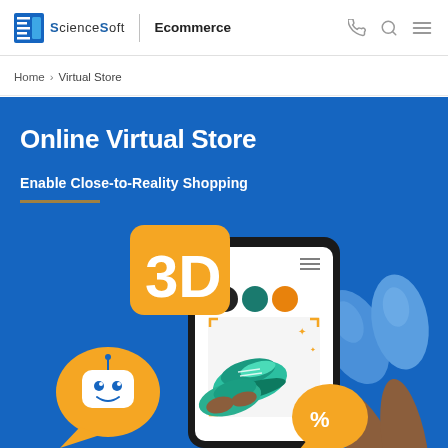ScienceSoft | Ecommerce
Home > Virtual Store
Online Virtual Store
Enable Close-to-Reality Shopping
[Figure (illustration): Hero illustration showing a smartphone with AR shoe try-on, a 3D badge, a chatbot icon, a discount percent badge, and illustrated legs wearing blue socks/sneakers on a blue background]